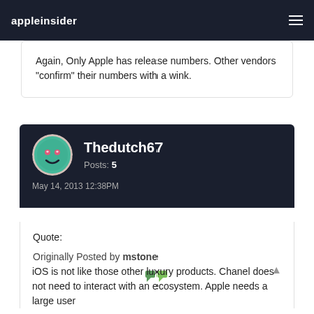appleinsider
Again, Only Apple has release numbers. Other vendors "confirm" their numbers with a wink.
Thedutch67
Posts: 5
May 14, 2013 12:38PM
Quote:

Originally Posted by mstone
iOS is not like those other luxury products. Chanel does not need to interact with an ecosystem. Apple needs a large user...